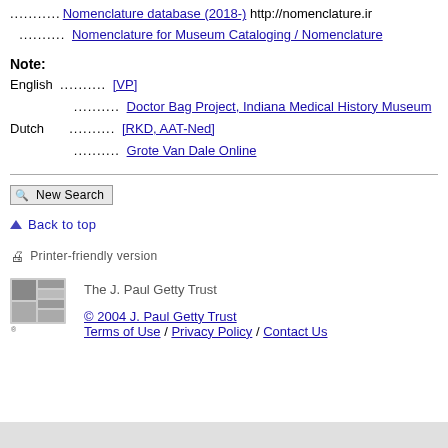........... Nomenclature database (2018-) http://nomenclature.ir
........... Nomenclature for Museum Cataloging / Nomenclature
Note:
English........... [VP]
........... Doctor Bag Project, Indiana Medical History Museum
Dutch .......... [RKD, AAT-Ned]
.......... Grote Van Dale Online
New Search
Back to top
Printer-friendly version
The J. Paul Getty Trust
© 2004 J. Paul Getty Trust
Terms of Use / Privacy Policy / Contact Us